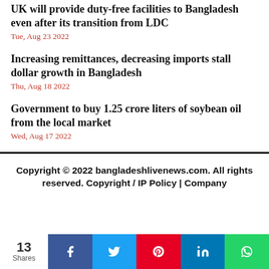UK will provide duty-free facilities to Bangladesh even after its transition from LDC
Tue, Aug 23 2022
Increasing remittances, decreasing imports stall dollar growth in Bangladesh
Thu, Aug 18 2022
Government to buy 1.25 crore liters of soybean oil from the local market
Wed, Aug 17 2022
Copyright © 2022 bangladeshlivenews.com. All rights reserved. Copyright / IP Policy | Company